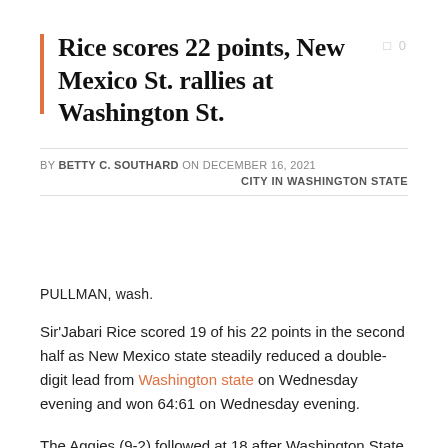Rice scores 22 points, New Mexico St. rallies at Washington St.
BY BETTY C. SOUTHARD ON DECEMBER 16, 2021
CITY IN WASHINGTON STATE
PULLMAN, wash.
Sir'Jabari Rice scored 19 of his 22 points in the second half as New Mexico state steadily reduced a double-digit lead from Washington state on Wednesday evening and won 64:61 on Wednesday evening.
The Aggies (9-2) followed at 18 after Washington State opened the second half with three straight 3-pointers. Rice scored the